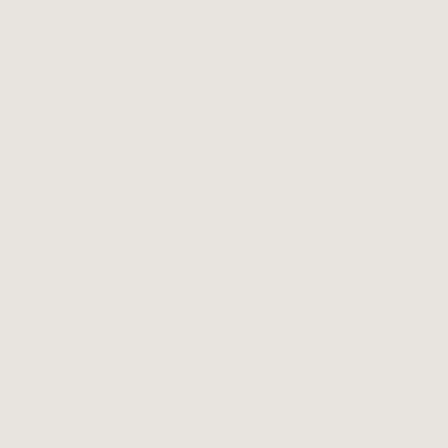know how damaging this kind of p...
But in addition to calling out finding/repairing problems with th... companies or whole classes of sta...
Of course, if you've personally b... system as a whole. You want sp... DeMayo Law team today for a fre... 1.877.529.1222.
Permalink | Email This Post
Posted In: Legal Issues, Medical Issu... Overuse Injuries, Uncategorized, Wo... Benefits, Workers' Compensation Clai... Providers
Solving the North Carolina... Eliminating Hidden Dange...
May 4, 2013, by Michael A. DeMay...